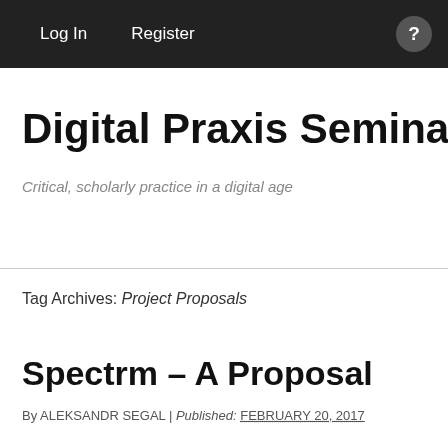Log In   Register
Digital Praxis Seminar 2016
Critical, scholarly practice in a digital age
Tag Archives: Project Proposals
Spectrm – A Proposal
By ALEKSANDR SEGAL | Published: FEBRUARY 20, 2017